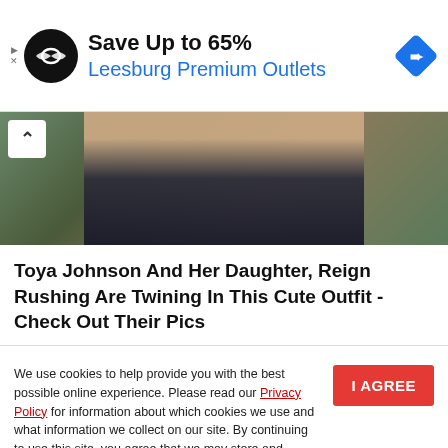[Figure (infographic): Advertisement banner: black circular logo with infinity-like symbol, text 'Save Up to 65%' in bold black and 'Leesburg Premium Outlets' in blue, blue diamond navigation icon on right]
[Figure (photo): Partial photo of a person in a dark dress standing outdoors near green plants/trees, with a chevron-up button overlay]
Toya Johnson And Her Daughter, Reign Rushing Are Twining In This Cute Outfit - Check Out Their Pics
We use cookies to help provide you with the best possible online experience. Please read our Privacy Policy for information about which cookies we use and what information we collect on our site. By continuing to use this site, you agree that we may store and access cookies on your device.